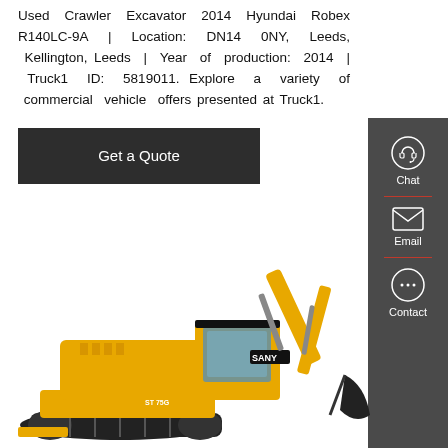Used Crawler Excavator 2014 Hyundai Robex R140LC-9A | Location: DN14 0NY, Leeds, Kellington, Leeds | Year of production: 2014 | Truck1 ID: 5819011. Explore a variety of commercial vehicle offers presented at Truck1.
[Figure (other): Dark grey button labeled 'Get a Quote']
[Figure (other): Sidebar with Chat, Email, and Contact icons on dark grey background]
[Figure (photo): Yellow SANY crawler excavator on white background, model ST75G, showing full side view with boom, arm, and bucket extended to the right]